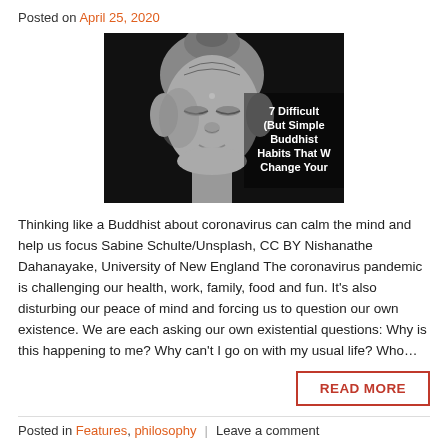Posted on April 25, 2020
[Figure (photo): Black and white image of a Buddha statue with white text overlay reading '7 Difficult (But Simple Buddhist Habits That W Change Your']
Thinking like a Buddhist about coronavirus can calm the mind and help us focus Sabine Schulte/Unsplash, CC BY Nishanathe Dahanayake, University of New England The coronavirus pandemic is challenging our health, work, family, food and fun. It's also disturbing our peace of mind and forcing us to question our own existence. We are each asking our own existential questions: Why is this happening to me? Why can't I go on with my usual life? Who…
READ MORE
Posted in Features, philosophy  |  Leave a comment